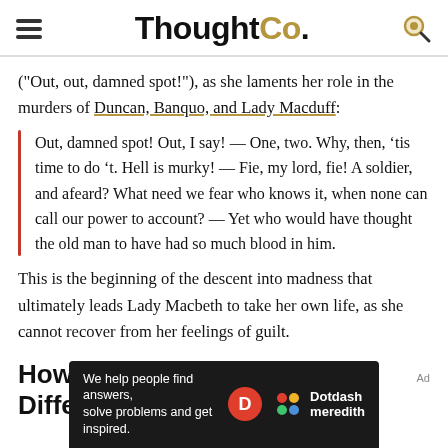ThoughtCo.
("Out, out, damned spot!"), as she laments her role in the murders of Duncan, Banquo, and Lady Macduff:
Out, damned spot! Out, I say! — One, two. Why, then, ’tis time to do ’t. Hell is murky! — Fie, my lord, fie! A soldier, and afeard? What need we fear who knows it, when none can call our power to account? — Yet who would have thought the old man to have had so much blood in him.
This is the beginning of the descent into madness that ultimately leads Lady Macbeth to take her own life, as she cannot recover from her feelings of guilt.
How Lady Macbeth’s Guilt Differs From
[Figure (other): Dotdash Meredith ad banner: 'We help people find answers, solve problems and get inspired.']